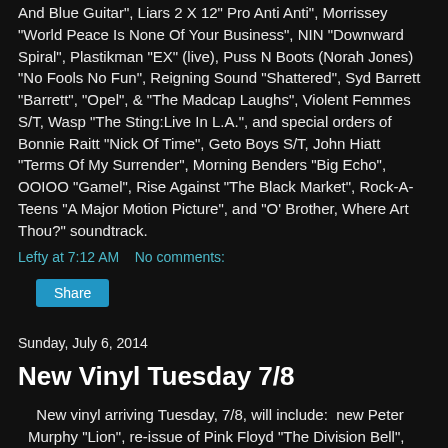And Blue Guitar", Liars 2 X 12" Pro Anti Anti", Morrissey "World Peace Is None Of Your Business", NIN "Downward Spiral", Plastikman "EX" (live), Puss N Boots (Norah Jones) "No Fools No Fun", Reigning Sound "Shattered", Syd Barrett "Barrett", "Opel", & "The Madcap Laughs", Violent Femmes S/T, Wasp "The Sting:Live In L.A.", and special orders of Bonnie Raitt "Nick Of Time", Geto Boys S/T, John Hiatt "Terms Of My Surrender", Morning Benders "Big Echo", OOIOO "Gamel", Rise Against "The Black Market", Rock-A-Teens "A Major Motion Picture", and "O' Brother, Where Art Thou?" soundtrack.
Lefty at 7:12 AM    No comments:
Share
Sunday, July 6, 2014
New Vinyl Tuesday 7/8
New vinyl arriving Tuesday, 7/8, will include:  new Peter Murphy "Lion", re-issue of Pink Floyd "The Division Bell", Bassnectar S/T & "Blood Becoming Fire", Cadillac Sla...